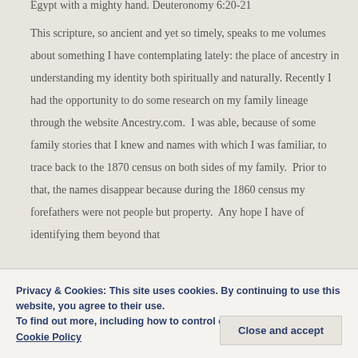Egypt with a mighty hand. Deuteronomy 6:20-21
This scripture, so ancient and yet so timely, speaks to me volumes about something I have contemplating lately: the place of ancestry in understanding my identity both spiritually and naturally. Recently I had the opportunity to do some research on my family lineage through the website Ancestry.com.  I was able, because of some family stories that I knew and names with which I was familiar, to trace back to the 1870 census on both sides of my family.  Prior to that, the names disappear because during the 1860 census my forefathers were not people but property.  Any hope I have of identifying them beyond that
Privacy & Cookies: This site uses cookies. By continuing to use this website, you agree to their use.
To find out more, including how to control cookies, see here:
Cookie Policy
Close and accept